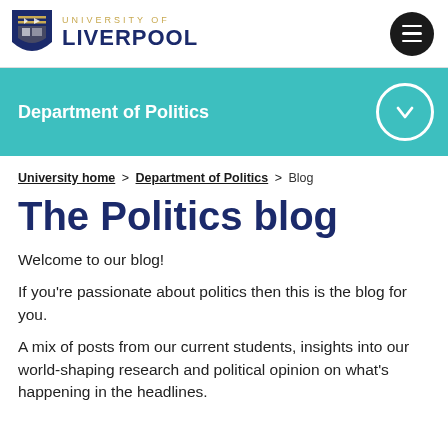[Figure (logo): University of Liverpool shield crest logo with text UNIVERSITY OF LIVERPOOL]
Department of Politics
University home > Department of Politics > Blog
The Politics blog
Welcome to our blog!
If you're passionate about politics then this is the blog for you.
A mix of posts from our current students, insights into our world-shaping research and political opinion on what's happening in the headlines.